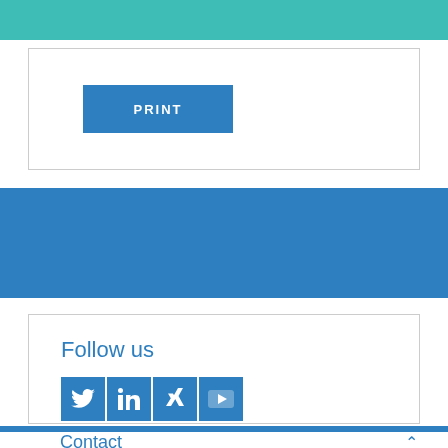[Figure (other): Teal/turquoise bar at top of page, partial UI element]
[Figure (other): White box with a blue PRINT button inside]
[Figure (other): Solid blue horizontal band/section]
[Figure (other): White box with Follow us heading and social media icons (Twitter, LinkedIn, Xing, YouTube)]
Follow us
Contact